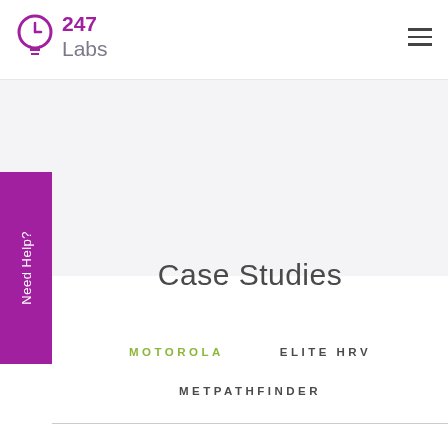247 Labs
Case Studies
MOTOROLA
ELITE HRV
METPATHFINDER